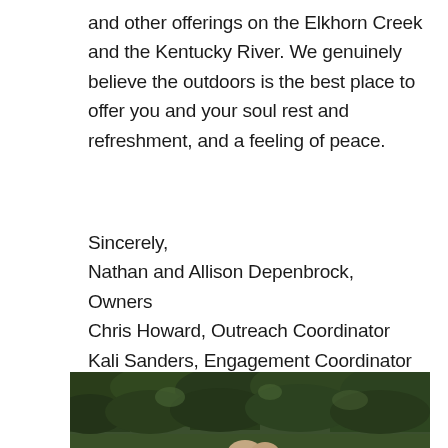and other offerings on the Elkhorn Creek and the Kentucky River. We genuinely believe the outdoors is the best place to offer you and your soul rest and refreshment, and a feeling of peace.
Sincerely,
Nathan and Allison Depenbrock, Owners
Chris Howard, Outreach Coordinator
Kali Sanders, Engagement Coordinator
Chad Harp, Shop Manager
and the entire CKY: Canoe Kentucky Family.
[Figure (photo): Outdoor photo showing a dense green forest/tree canopy in the background with a person's hands visible at the bottom center of the image, likely on water.]